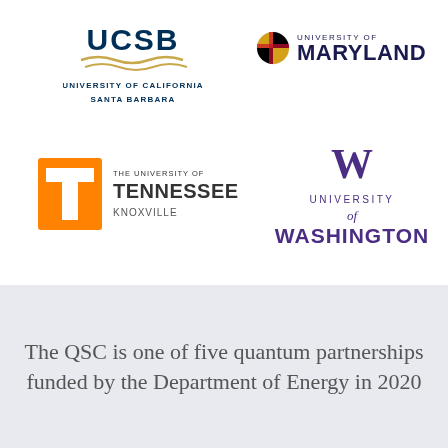[Figure (logo): University of California Santa Barbara (UCSB) logo with navy blue UCSB text and gold wave lines, with text UNIVERSITY OF CALIFORNIA SANTA BARBARA below]
[Figure (logo): University of Maryland logo with Maryland flag crest and UNIVERSITY OF MARYLAND text in navy blue]
[Figure (logo): The University of Tennessee Knoxville logo with orange T block letter and THE UNIVERSITY OF TENNESSEE KNOXVILLE text]
[Figure (logo): University of Washington logo with purple W letter and UNIVERSITY of WASHINGTON text in purple]
The QSC is one of five quantum partnerships funded by the Department of Energy in 2020